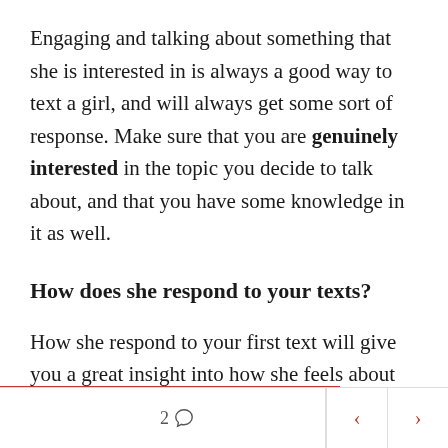Engaging and talking about something that she is interested in is always a good way to text a girl, and will always get some sort of response. Make sure that you are genuinely interested in the topic you decide to talk about, and that you have some knowledge in it as well.
How does she respond to your texts?
How she respond to your first text will give you a great insight into how she feels about you, and also what you could say next. Does she reply quickly or does she take her time?
2 ◯  ‹  ›